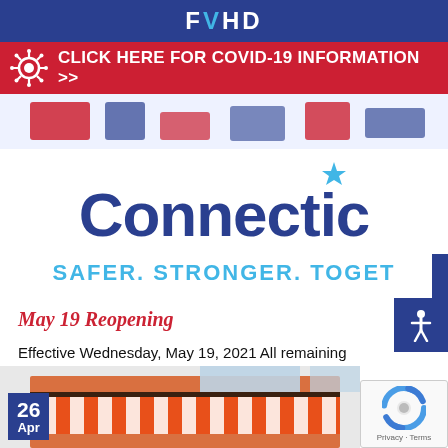FVHD
CLICK HERE FOR COVID-19 INFORMATION >>
[Figure (screenshot): Connecticut Safer. Stronger. Together. state government banner image with decorative stars and red/blue elements]
May 19 Reopening
Effective Wednesday, May 19, 2021 All remaining restrictions will be lifted, except masks will continue [...]
[Figure (illustration): Storefront with orange and white striped awning, date badge showing 26 Apr in bottom left corner]
[Figure (other): reCAPTCHA badge with Privacy and Terms links]